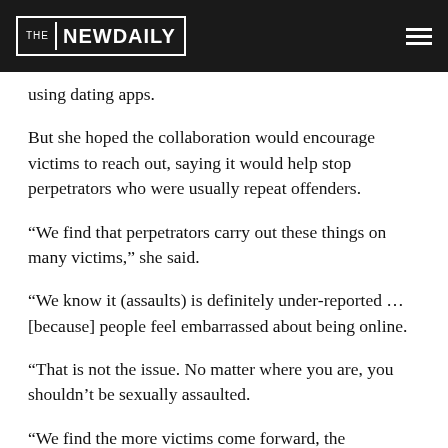THE NEW DAILY
using dating apps.
But she hoped the collaboration would encourage victims to reach out, saying it would help stop perpetrators who were usually repeat offenders.
“We find that perpetrators carry out these things on many victims,” she said.
“We know it (assaults) is definitely under-reported … [because] people feel embarrassed about being online.
“That is not the issue. No matter where you are, you shouldn’t be sexually assaulted.
“We find the more victims come forward, the information starts marrying up on who this person is online and we often